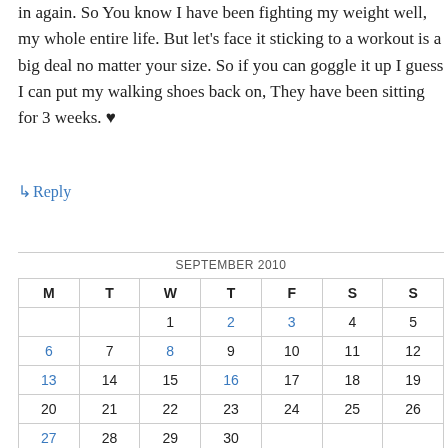in again. So You know I have been fighting my weight well, my whole entire life. But let's face it sticking to a workout is a big deal no matter your size. So if you can goggle it up I guess I can put my walking shoes back on, They have been sitting for 3 weeks. ♥
↳ Reply
| M | T | W | T | F | S | S |
| --- | --- | --- | --- | --- | --- | --- |
|  |  | 1 | 2 | 3 | 4 | 5 |
| 6 | 7 | 8 | 9 | 10 | 11 | 12 |
| 13 | 14 | 15 | 16 | 17 | 18 | 19 |
| 20 | 21 | 22 | 23 | 24 | 25 | 26 |
| 27 | 28 | 29 | 30 |  |  |  |